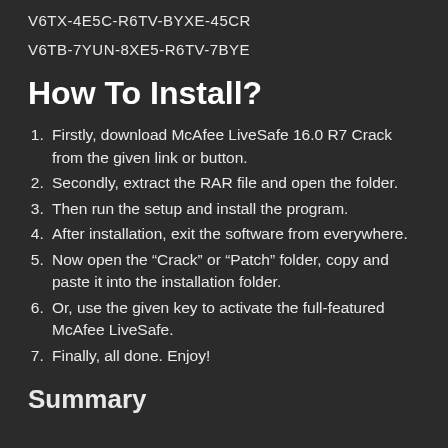V6TX-4E5C-R6TV-BYXE-45CR
V6TB-7YUN-8XE5-R6TV-7BYE
How To Install?
Firstly, download McAfee LiveSafe 16.0 R7 Crack from the given link or button.
Secondly, extract the RAR file and open the folder.
Then run the setup and install the program.
After installation, exit the software from everywhere.
Now open the “Crack” or “Patch” folder, copy and paste it into the installation folder.
Or, use the given key to activate the full-featured McAfee LiveSafe.
Finally, all done. Enjoy!
Summary